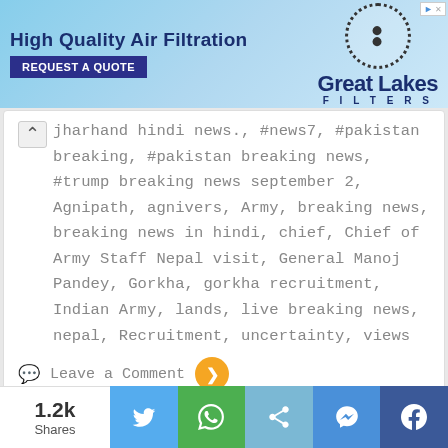[Figure (illustration): Advertisement banner for Great Lakes Filters - High Quality Air Filtration with a REQUEST A QUOTE button and a dotted circular logo on a blue sky background]
jharhand hindi news., #news7, #pakistan breaking, #pakistan breaking news, #trump breaking news september 2, Agnipath, agnivers, Army, breaking news, breaking news in hindi, chief, Chief of Army Staff Nepal visit, General Manoj Pandey, Gorkha, gorkha recruitment, Indian Army, lands, live breaking news, nepal, Recruitment, uncertainty, views
Leave a Comment
[Figure (photo): Crowd photo with VECTUS VECTUS VECTUS banner text visible]
1.2k Shares [Twitter] [WhatsApp] [Share] [Messenger] [Facebook]